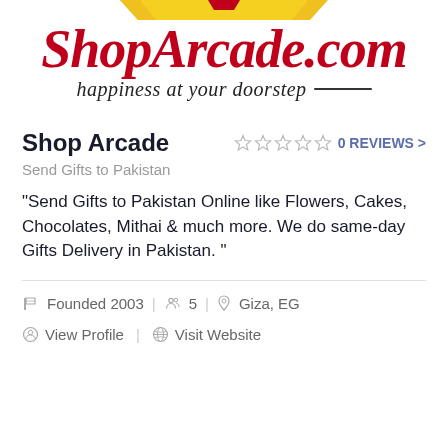[Figure (logo): ShopArcade.com logo with tagline 'happiness at your doorstep' in italic script, red and black colors, with yellow/red top stripe]
Shop Arcade
0 REVIEWS >
Send Gifts to Pakistan
"Send Gifts to Pakistan Online like Flowers, Cakes, Chocolates, Mithai & much more. We do same-day Gifts Delivery in Pakistan. "
Founded 2003  |  5  |  Giza, EG
View Profile  |  Visit Website